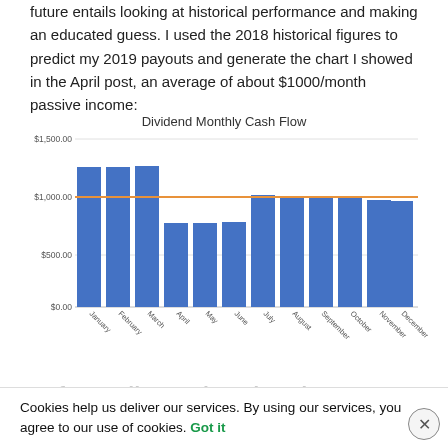future entails looking at historical performance and making an educated guess. I used the 2018 historical figures to predict my 2019 payouts and generate the chart I showed in the April post, an average of about $1000/month passive income:
[Figure (bar-chart): Dividend Monthly Cash Flow]
Cookies help us deliver our services. By using our services, you agree to our use of cookies. Got it